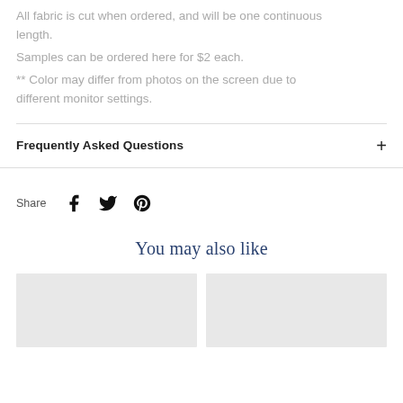All fabric is cut when ordered, and will be one continuous length.
Samples can be ordered here for $2 each.
** Color may differ from photos on the screen due to different monitor settings.
Frequently Asked Questions
Share
You may also like